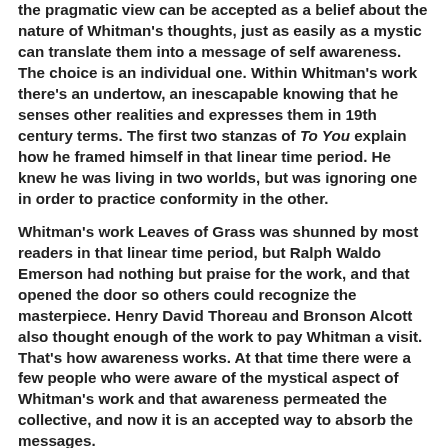the pragmatic view can be accepted as a belief about the nature of Whitman's thoughts, just as easily as a mystic can translate them into a message of self awareness. The choice is an individual one. Within Whitman's work there's an undertow, an inescapable knowing that he senses other realities and expresses them in 19th century terms. The first two stanzas of To You explain how he framed himself in that linear time period. He knew he was living in two worlds, but was ignoring one in order to practice conformity in the other.
Whitman's work Leaves of Grass was shunned by most readers in that linear time period, but Ralph Waldo Emerson had nothing but praise for the work, and that opened the door so others could recognize the masterpiece. Henry David Thoreau and Bronson Alcott also thought enough of the work to pay Whitman a visit. That's how awareness works. At that time there were a few people who were aware of the mystical aspect of Whitman's work and that awareness permeated the collective, and now it is an accepted way to absorb the messages.